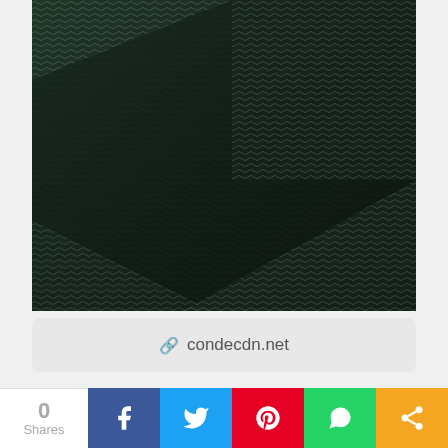[Figure (photo): Close-up photograph of dark fabric/textile with a woven herringbone or chevron pattern showing light-colored threads creating a zigzag texture against a dark background]
condecdn.net
[Figure (photo): Partial view of two cropped photos at bottom: left shows a person's shoulder/arm area, right shows a person wearing a dark polka-dot garment]
0 Shares